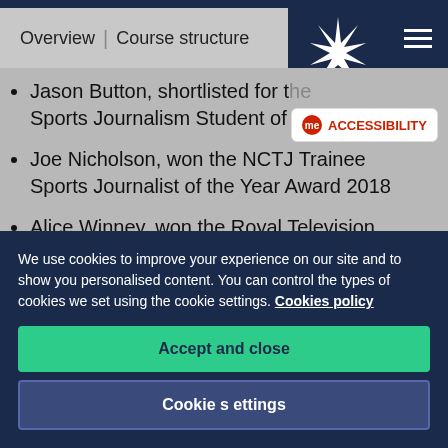Overview | Course structure
Jason Button, shortlisted for the Sports Journalism Student of the Year
Joe Nicholson, won the NCTJ Trainee Sports Journalist of the Year Award 2018
Alice Winney, won the Royal Television Society North East Student Award for News 2017 for her story about flooding in...
We use cookies to improve your experience on our site and to show you personalised content. You can control the types of cookies we set using the cookie settings. Cookies policy
Accept and close
Cookie settings